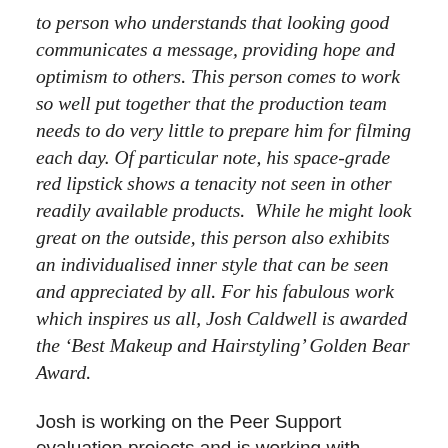to person who understands that looking good communicates a message, providing hope and optimism to others. This person comes to work so well put together that the production team needs to do very little to prepare him for filming each day. Of particular note, his space-grade red lipstick shows a tenacity not seen in other readily available products.  While he might look great on the outside, this person also exhibits an individualised inner style that can be seen and appreciated by all. For his fabulous work which inspires us all, Josh Caldwell is awarded the ‘Best Makeup and Hairstyling’ Golden Bear Award.
Josh is working on the Peer Support evaluation projects and is working with Rachelle on data collection and analysis.  His insights and his ability